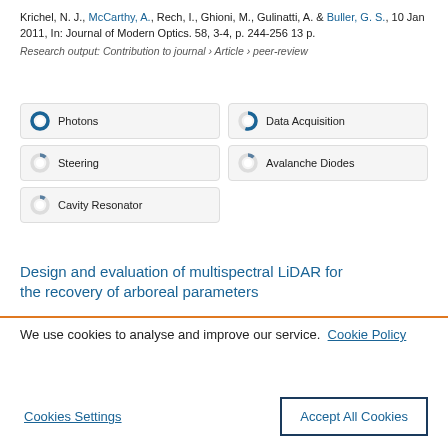Krichel, N. J., McCarthy, A., Rech, I., Ghioni, M., Gulinatti, A. & Buller, G. S., 10 Jan 2011, In: Journal of Modern Optics. 58, 3-4, p. 244-256 13 p.
Research output: Contribution to journal › Article › peer-review
[Figure (infographic): Five keyword badge pills arranged in a 2-column grid: Photons (full blue donut), Data Acquisition (half blue donut), Steering (small arc donut), Avalanche Diodes (small arc donut), Cavity Resonator (small arc donut)]
Design and evaluation of multispectral LiDAR for the recovery of arboreal parameters
We use cookies to analyse and improve our service. Cookie Policy
Cookies Settings   Accept All Cookies